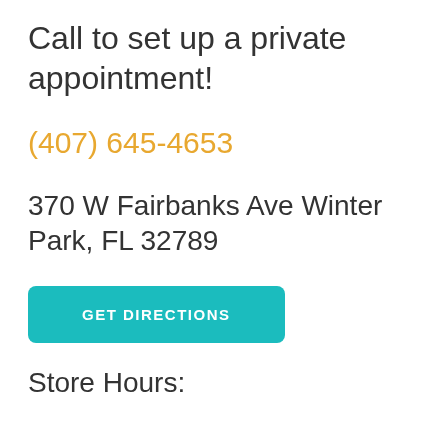Call to set up a private appointment!
(407) 645-4653
370 W Fairbanks Ave Winter Park, FL 32789
GET DIRECTIONS
Store Hours: